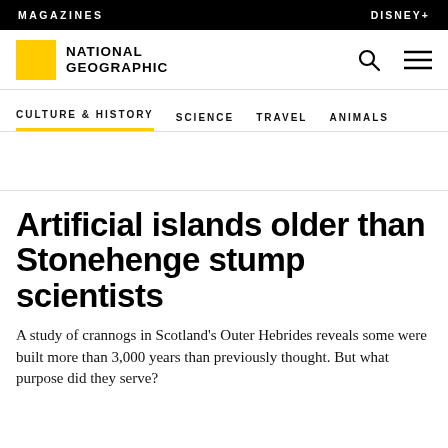MAGAZINES | DISNEY+
[Figure (logo): National Geographic logo with yellow square and brand name]
CULTURE & HISTORY  SCIENCE  TRAVEL  ANIMALS
Artificial islands older than Stonehenge stump scientists
A study of crannogs in Scotland's Outer Hebrides reveals some were built more than 3,000 years than previously thought. But what purpose did they serve?